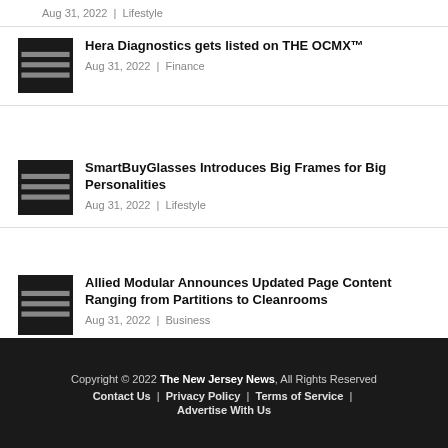Aug 31, 2022 | Lifestyle
Hera Diagnostics gets listed on THE OCMX™
Aug 31, 2022 | Finance
SmartBuyGlasses Introduces Big Frames for Big Personalities
Aug 31, 2022 | Lifestyle
Allied Modular Announces Updated Page Content Ranging from Partitions to Cleanrooms
Aug 31, 2022 | Business
Copyright © 2022 The New Jersey News, All Rights Reserved   Contact Us | Privacy Policy | Terms of Service | Advertise With Us